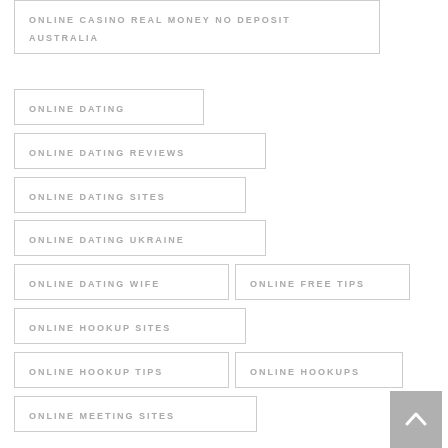ONLINE CASINO REAL MONEY NO DEPOSIT AUSTRALIA
ONLINE DATING
ONLINE DATING REVIEWS
ONLINE DATING SITES
ONLINE DATING UKRAINE
ONLINE DATING WIFE
ONLINE FREE TIPS
ONLINE HOOKUP SITES
ONLINE HOOKUP TIPS
ONLINE HOOKUPS
ONLINE MEETING SITES
ONLINE POKIES AUSTRALIA NO DEPOSIT SIGNUP BONUS